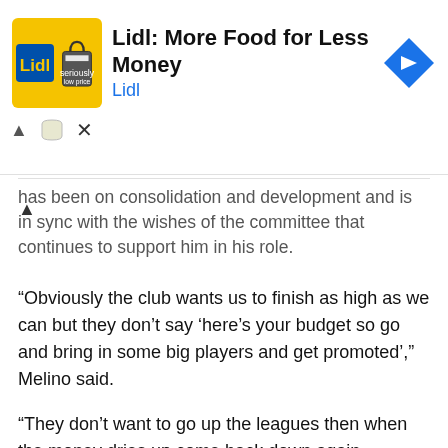[Figure (screenshot): Lidl advertisement banner: yellow logo box with Lidl badge and shopping bag icon, title 'Lidl: More Food for Less Money', subtitle 'Lidl', blue arrow navigation icon on right, with close/minimize controls below]
has been on consolidation and development and is in sync with the wishes of the committee that continues to support him in his role.
“Obviously the club wants us to finish as high as we can but they don’t say ‘here’s your budget so go and bring in some big players and get promoted’,” Melino said.
“They don’t want to go up the leagues then when the money dries up come back down again.
“They want to be a sustainable club where culture comes first and that aligns with me.